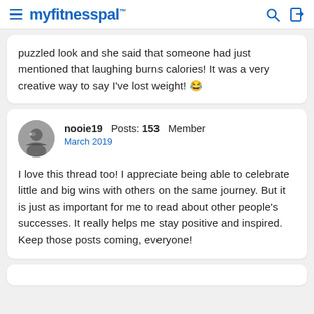myfitnesspal
puzzled look and she said that someone had just mentioned that laughing burns calories! It was a very creative way to say I've lost weight! 😂
nooie19  Posts: 153  Member
March 2019

I love this thread too! I appreciate being able to celebrate little and big wins with others on the same journey. But it is just as important for me to read about other people's successes. It really helps me stay positive and inspired. Keep those posts coming, everyone!